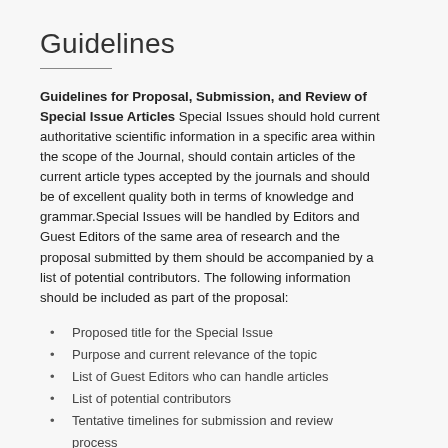Guidelines
Guidelines for Proposal, Submission, and Review of Special Issue Articles Special Issues should hold current authoritative scientific information in a specific area within the scope of the Journal, should contain articles of the current article types accepted by the journals and should be of excellent quality both in terms of knowledge and grammar.Special Issues will be handled by Editors and Guest Editors of the same area of research and the proposal submitted by them should be accompanied by a list of potential contributors. The following information should be included as part of the proposal:
Proposed title for the Special Issue
Purpose and current relevance of the topic
List of Guest Editors who can handle articles
List of potential contributors
Tentative timelines for submission and review process
The papers published in the Special Issues will undergo